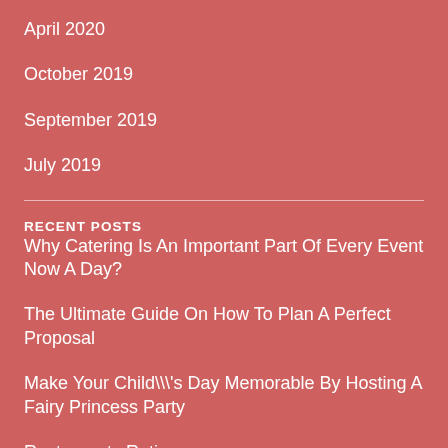April 2020
October 2019
September 2019
July 2019
RECENT POSTS
Why Catering Is An Important Part Of Every Event Now A Day?
The Ultimate Guide On How To Plan A Perfect Proposal
Make Your Child\\'s Day Memorable By Hosting A Fairy Princess Party
Restaurants Rating